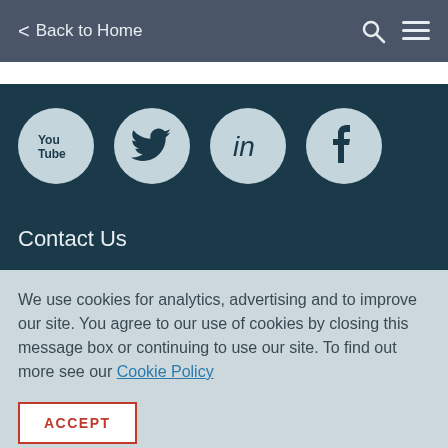< Back to Home
[Figure (illustration): Social media icons in circles: YouTube, Twitter, LinkedIn, Facebook on dark navy background]
Contact Us
We use cookies for analytics, advertising and to improve our site. You agree to our use of cookies by closing this message box or continuing to use our site. To find out more see our Cookie Policy
ACCEPT